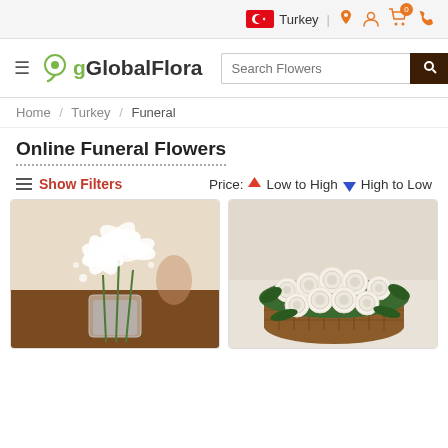Turkey | (pin icon) (user icon) (cart icon with 0) (phone icon)
GlobalFlora — Search Flowers
Home / Turkey / Funeral
Online Funeral Flowers
≡ Show Filters   Price: ↑ Low to High ↓ High to Low
[Figure (photo): White lilies in a clear glass vase on a wooden table]
[Figure (photo): White roses arranged in a wicker basket]